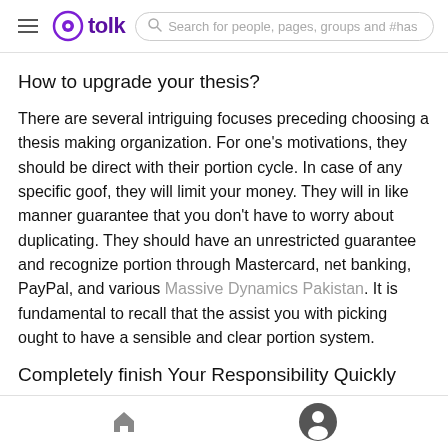tolk — Search for people, pages, groups and #has
How to upgrade your thesis?
There are several intriguing focuses preceding choosing a thesis making organization. For one's motivations, they should be direct with their portion cycle. In case of any specific goof, they will limit your money. They will in like manner guarantee that you don't have to worry about duplicating. They should have an unrestricted guarantee and recognize portion through Mastercard, net banking, PayPal, and various Massive Dynamics Pakistan. It is fundamental to recall that the assist you with picking ought to have a sensible and clear portion system.
Completely finish Your Responsibility Quickly
Home | Profile